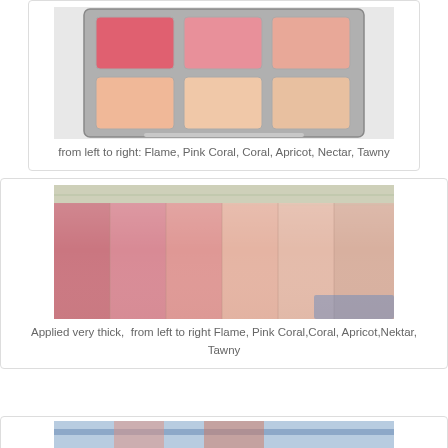[Figure (photo): Top portion of a makeup blush/lipstick palette with 6 pans arranged in 2 rows of 3, showing shades from pink-red to peach. Colors from left to right: Flame, Pink Coral, Coral, Apricot, Nectar, Tawny.]
from left to right: Flame, Pink Coral, Coral, Apricot, Nectar, Tawny
[Figure (photo): Arm swatches of lipstick/blush shades applied very thick, showing 6 strips of color from left to right on skin: Flame (deep pink-red), Pink Coral, Coral, Apricot, Nektar, Tawny (lightest peach).]
Applied very thick,  from left to right Flame, Pink Coral,Coral, Apricot,Nektar, Tawny
[Figure (photo): Partially visible third photo at bottom of page, appears to show another swatch or product photo.]